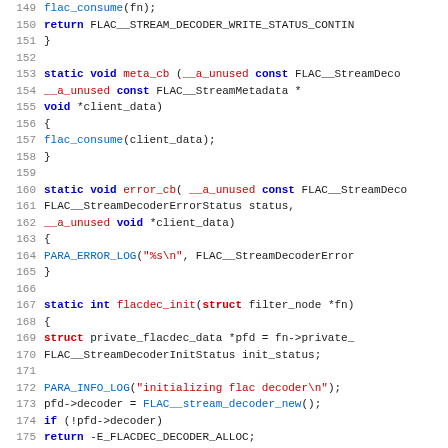[Figure (screenshot): Source code listing in C, lines 149-180, showing FLAC stream decoder callback functions and initialization code with syntax highlighting (keywords in blue/bold, strings/macros in red, identifiers in default color).]